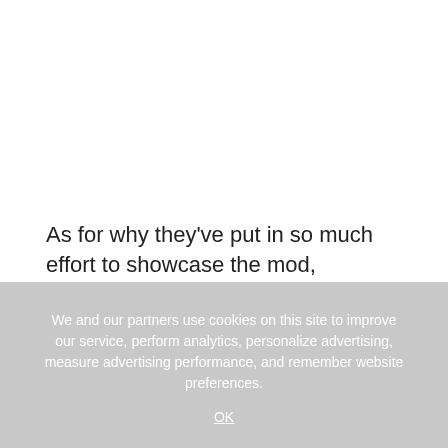As for why they've put in so much effort to showcase the mod, Specilizer said it was to, "celebrate 2 amazing games releasing this year (GOW Ragnarok and TLOU Remake), here's both of them combined".
We and our partners use cookies on this site to improve our service, perform analytics, personalize advertising, measure advertising performance, and remember website preferences.
OK